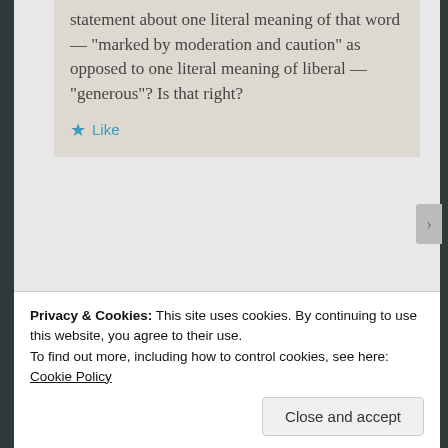statement about one literal meaning of that word — "marked by moderation and caution" as opposed to one literal meaning of liberal — "generous"? Is that right?
★ Like
Melanie Sierra says: April 4, 2015 at 10:44 pm
Me too!! I am loving this version of
Privacy & Cookies: This site uses cookies. By continuing to use this website, you agree to their use.
To find out more, including how to control cookies, see here: Cookie Policy
Close and accept